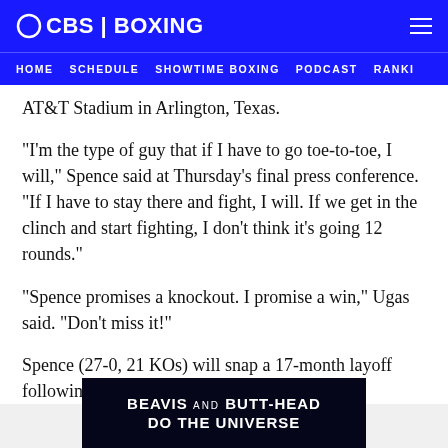CBS | BOXING
HOME   SCHEDULE   SHOWTIME BOXING   PODCAST   RANKI
AT&T Stadium in Arlington, Texas.
"I'm the type of guy that if I have to go toe-to-toe, I will," Spence said at Thursday's final press conference. "If I have to stay there and fight, I will. If we get in the clinch and start fighting, I don't think it's going 12 rounds."
"Spence promises a knockout. I promise a win," Ugas said. "Don't miss it!"
Spence (27-0, 21 KOs) will snap a 17-month layoff following surgery on a detached retina when he
[Figure (screenshot): Advertisement banner for 'Beavis and Butt-Head Do the Universe' on a dark space background]